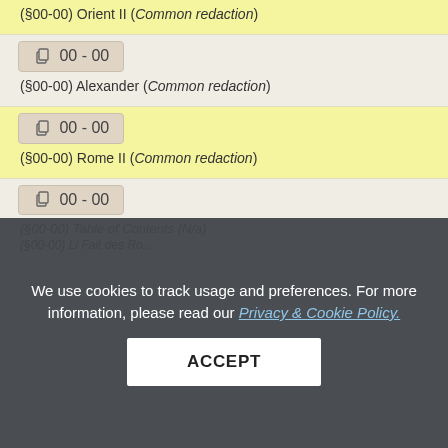(§00-00) Orient II (Common redaction)
📋 00 - 00
(§00-00) Alexander (Common redaction)
📋 00 - 00
(§00-00) Rome II (Common redaction)
📋 00 - 00
(§00-00) Table of Contents (N/a)
(§00-00) Li Fait des Ro...
We use cookies to track usage and preferences. For more information, please read our Privacy & Cookie Policy.
ACCEPT